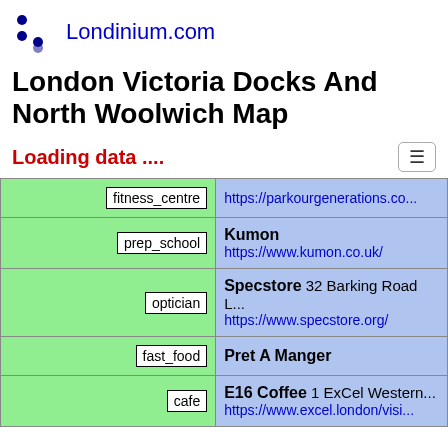Londinium.com
London Victoria Docks And North Woolwich Map
Loading data ....
| Type | Details |
| --- | --- |
| fitness_centre | https://parkourgenerations.co... |
| prep_school | Kumon
https://www.kumon.co.uk/ |
| optician | Specstore 32 Barking Road ...
https://www.specstore.org/ |
| fast_food | Pret A Manger |
| cafe | E16 Coffee 1 ExCel Western ...
https://www.excel.london/visi... |